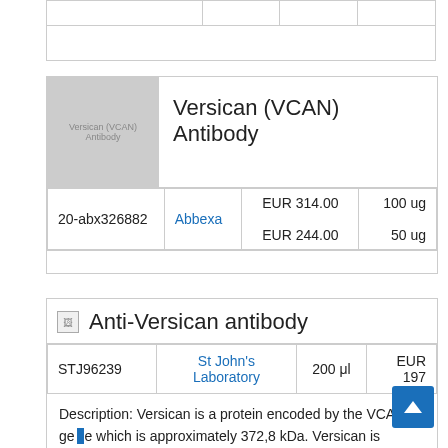|  |  |  |  |
|  |  |   |  |
|  |  |   |  |
[Figure (photo): Placeholder image for Versican (VCAN) Antibody product listing]
Versican (VCAN) Antibody
| 20-abx326882 | Abbexa | EUR 314.00
EUR 244.00 | 100 ug
50 ug |
Anti-Versican antibody
| STJ96239 | St John's Laboratory | 200 μl | EUR 197 |
Description: Versican is a protein encoded by the VCAN gene which is approximately 372,8 kDa. Versican is secreted into the extracellular space. It is involved in the integrin pathway. ERK